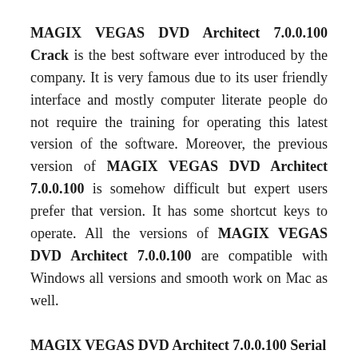MAGIX VEGAS DVD Architect 7.0.0.100 Crack is the best software ever introduced by the company. It is very famous due to its user friendly interface and mostly computer literate people do not require the training for operating this latest version of the software. Moreover, the previous version of MAGIX VEGAS DVD Architect 7.0.0.100 is somehow difficult but expert users prefer that version. It has some shortcut keys to operate. All the versions of MAGIX VEGAS DVD Architect 7.0.0.100 are compatible with Windows all versions and smooth work on Mac as well.
MAGIX VEGAS DVD Architect 7.0.0.100 Serial